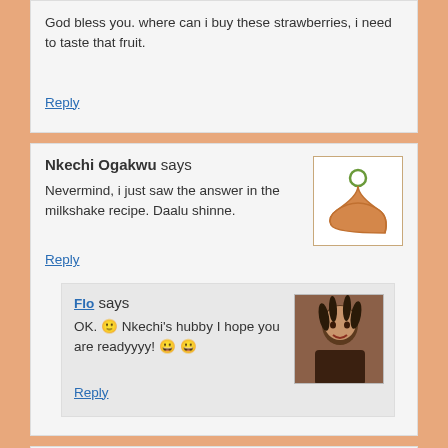God bless you. where can i buy these strawberries, i need to taste that fruit.
Reply
Nkechi Ogakwu says
Nevermind, i just saw the answer in the milkshake recipe. Daalu shinne.
Reply
Flo says
OK. 🙂 Nkechi's hubby I hope you are readyyyy! 😀 😀
Reply
olunike says